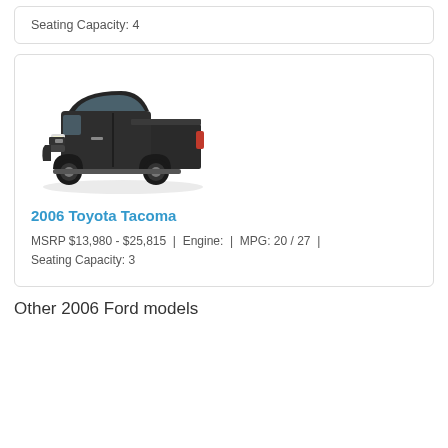Seating Capacity: 4
[Figure (photo): Photo of a black 2006 Toyota Tacoma pickup truck, front three-quarter view]
2006 Toyota Tacoma
MSRP $13,980 - $25,815  |  Engine:  |  MPG: 20 / 27  |  Seating Capacity: 3
Other 2006 Ford models